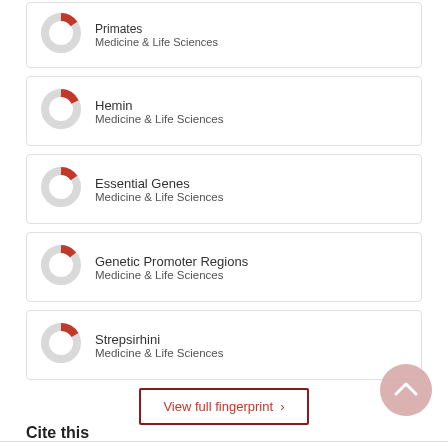[Figure (donut-chart): Partial donut chart icon for Primates with red segment, Medicine & Life Sciences]
[Figure (donut-chart): Partial donut chart icon for Hemin with red segment, Medicine & Life Sciences]
[Figure (donut-chart): Partial donut chart icon for Essential Genes with red segment, Medicine & Life Sciences]
[Figure (donut-chart): Partial donut chart icon for Genetic Promoter Regions with red segment, Medicine & Life Sciences]
[Figure (donut-chart): Partial donut chart icon for Strepsirhini with red segment, Medicine & Life Sciences]
View full fingerprint >
Cite this